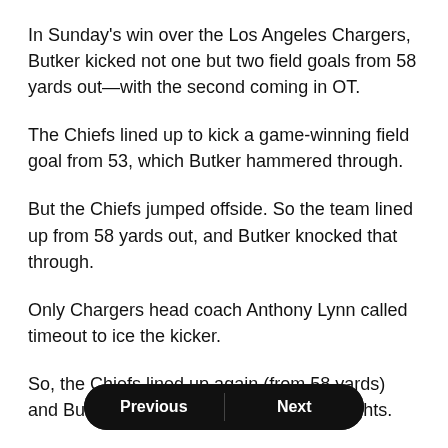In Sunday's win over the Los Angeles Chargers, Butker kicked not one but two field goals from 58 yards out—with the second coming in OT.
The Chiefs lined up to kick a game-winning field goal from 53, which Butker hammered through.
But the Chiefs jumped offside. So the team lined up from 58 yards out, and Butker knocked that through.
Only Chargers head coach Anthony Lynn called timeout to ice the kicker.
So, the Chiefs lined up again (from 58 yards) and Butker knocked that through the uprights.
Boo to the yah.